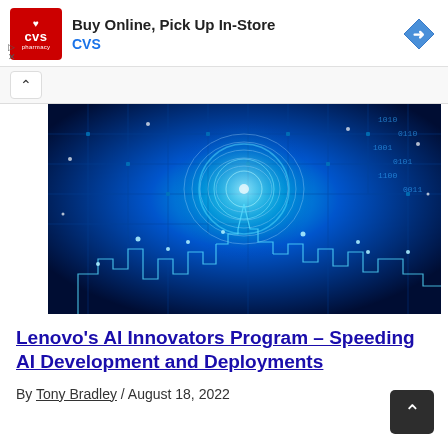[Figure (other): CVS Pharmacy advertisement banner: red CVS pharmacy logo on left, text 'Buy Online, Pick Up In-Store' and 'CVS' in blue, blue diamond navigation icon on right]
[Figure (photo): Blue digital cityscape with circuit board patterns, binary code, fingerprint scan overlay, and glowing city skyline — technology/AI themed illustration]
Lenovo's AI Innovators Program – Speeding AI Development and Deployments
By Tony Bradley / August 18, 2022